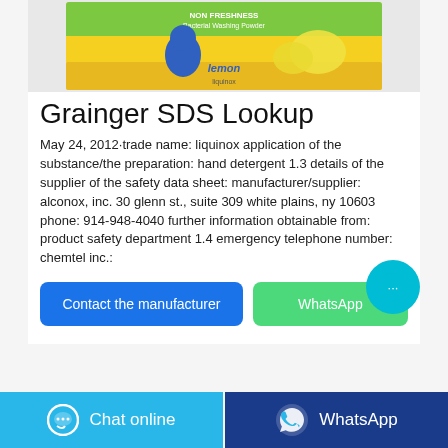[Figure (photo): Product photo of a lemon-scented antibacterial washing powder bag, yellow and green packaging with lemon imagery]
Grainger SDS Lookup
May 24, 2012·trade name: liquinox application of the substance/the preparation: hand detergent 1.3 details of the supplier of the safety data sheet: manufacturer/supplier: alconox, inc. 30 glenn st., suite 309 white plains, ny 10603 phone: 914-948-4040 further information obtainable from: product safety department 1.4 emergency telephone number: chemtel inc.:
[Figure (other): Contact the manufacturer button (blue) and WhatsApp button (green) with a cyan chat bubble floating button overlay]
[Figure (other): Bottom bar with Chat online button (light blue with chat icon) and WhatsApp button (dark blue with WhatsApp icon)]